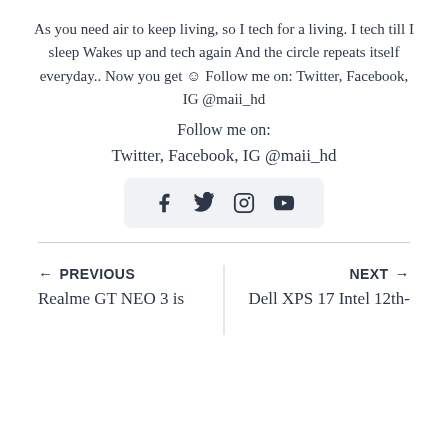As you need air to keep living, so I tech for a living. I tech till I sleep Wakes up and tech again And the circle repeats itself everyday.. Now you get ☺ Follow me on: Twitter, Facebook, IG @maii_hd
Follow me on:
Twitter, Facebook, IG @maii_hd
[Figure (other): Social media icons row: Facebook, Twitter, Instagram, YouTube in a light grey rounded box]
← PREVIOUS
Realme GT NEO 3 is
NEXT →
Dell XPS 17 Intel 12th-